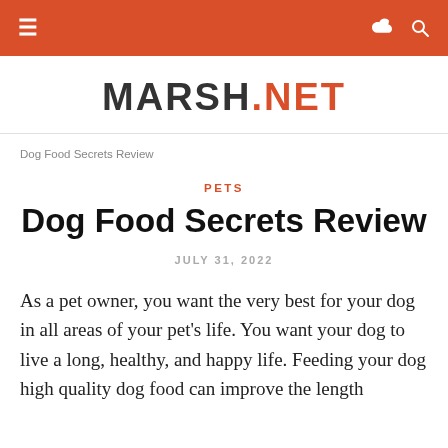≡  ⌗ 🔍
MARSH.NET
Dog Food Secrets Review
PETS
Dog Food Secrets Review
JULY 31, 2022
As a pet owner, you want the very best for your dog in all areas of your pet's life. You want your dog to live a long, healthy, and happy life. Feeding your dog high quality dog food can improve the length